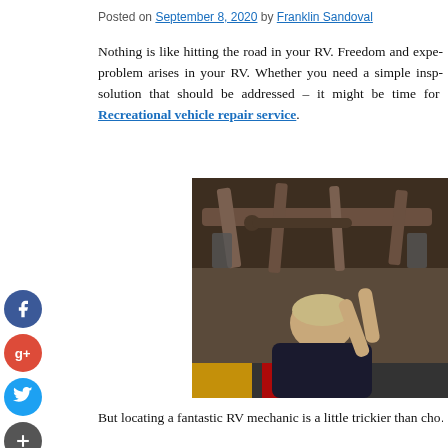Posted on September 8, 2020 by Franklin Sandoval
Nothing is like hitting the road in your RV. Freedom and expe... problem arises in your RV. Whether you need a simple insp... solution that should be addressed – it might be time for Recreational vehicle repair service.
[Figure (photo): Mechanic working underneath a vehicle, viewed from below showing suspension components and undercarriage]
But locating a fantastic RV mechanic is a little trickier than cho...